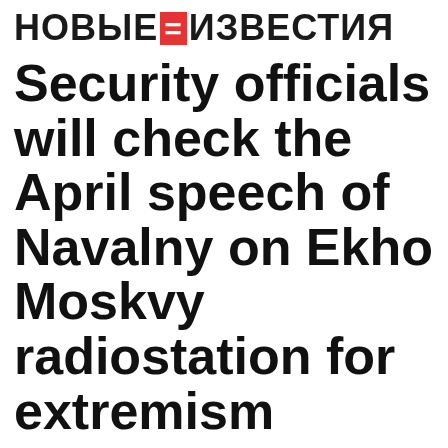НОВЫЕ ИЗВЕСТИЯ
Security officials will check the April speech of Navalny on Ekho Moskvy radiostation for extremism
1 December 2020, 15:10    Politics
An investigation in Moscow has begun checking the politician Alexey Navalny on the air of Ekho Moskv...
According to TASS, citing a law enforcement source, Alexey allegedly called for a violent change of the constitutional o...